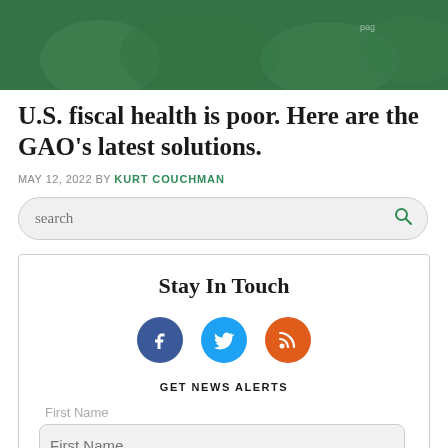[Figure (photo): Hero image with green-toned background showing blurred crowd or group of people]
U.S. fiscal health is poor. Here are the GAO’s latest solutions.
MAY 12, 2022 BY KURT COUCHMAN
[Figure (other): Search bar with rounded corners and magnifying glass icon]
Stay In Touch
[Figure (infographic): Social media icons: Facebook (blue circle), Twitter (light blue circle), RSS feed (orange circle)]
GET NEWS ALERTS
First Name
[Figure (other): First Name input text field with rounded corners and grey background]